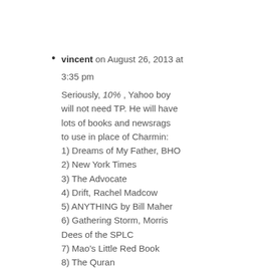vincent on August 26, 2013 at 3:35 pm
Seriously, 10% , Yahoo boy will not need TP. He will have lots of books and newsrags to use in place of Charmin: 1) Dreams of My Father, BHO 2) New York Times 3) The Advocate 4) Drift, Rachel Madcow 5) ANYTHING by Bill Maher 6) Gathering Storm, Morris Dees of the SPLC 7) Mao’s Little Red Book 8) The Quran 9) Earth in the Balance, Al Gore Jr 10) Shooting Straight, Piers